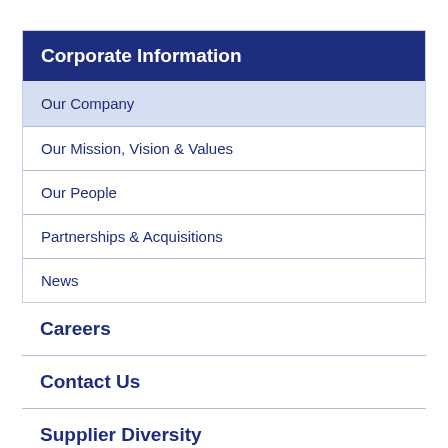Corporate Information
Our Company
Our Mission, Vision & Values
Our People
Partnerships & Acquisitions
News
Careers
Contact Us
Supplier Diversity